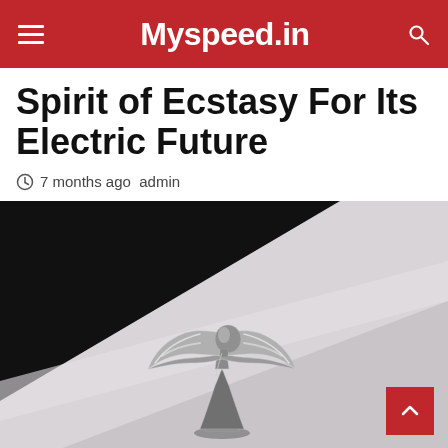Myspeed.in
Spirit of Ecstasy For Its Electric Future
7 months ago  admin
[Figure (photo): Close-up photo of the Rolls-Royce Spirit of Ecstasy chrome hood ornament, set against a black and white/grey diagonal background on the car bonnet.]